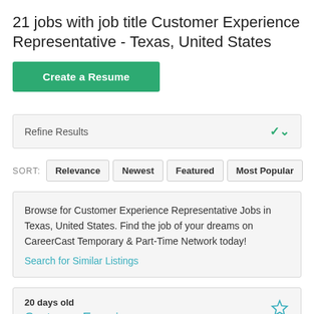21 jobs with job title Customer Experience Representative - Texas, United States
Create a Resume
Refine Results
SORT: Relevance Newest Featured Most Popular
Browse for Customer Experience Representative Jobs in Texas, United States. Find the job of your dreams on CareerCast Temporary & Part-Time Network today! Search for Similar Listings
20 days old
Customer Experience